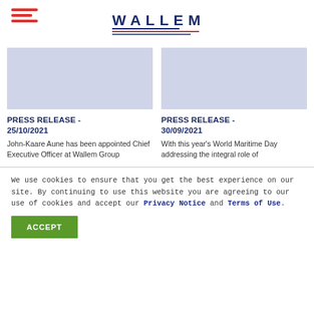WALLEM (logo with navigation hamburger)
[Figure (illustration): Placeholder image for Press Release 25/10/2021 — light blue-grey rectangle]
PRESS RELEASE - 25/10/2021
John-Kaare Aune has been appointed Chief Executive Officer at Wallem Group
[Figure (illustration): Placeholder image for Press Release 30/09/2021 — light blue-grey rectangle]
PRESS RELEASE - 30/09/2021
With this year's World Maritime Day addressing the integral role of
We use cookies to ensure that you get the best experience on our site. By continuing to use this website you are agreeing to our use of cookies and accept our Privacy Notice and Terms of Use.
ACCEPT